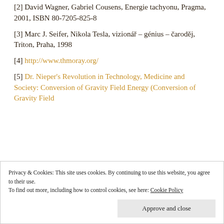[2] David Wagner, Gabriel Cousens, Energie tachyonu, Pragma, 2001, ISBN 80-7205-825-8
[3] Marc J. Seifer, Nikola Tesla, vizionář – génius – čaroděj, Triton, Praha, 1998
[4] http://www.thmoray.org/
[5] Dr. Nieper's Revolution in Technology, Medicine and Society: Conversion of Gravity Field Energy (Conversion of Gravity Field
Privacy & Cookies: This site uses cookies. By continuing to use this website, you agree to their use.
To find out more, including how to control cookies, see here: Cookie Policy